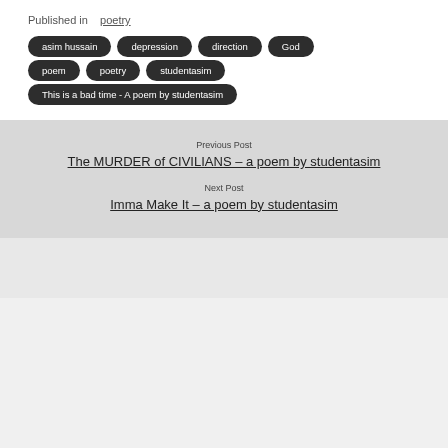Published in  poetry
asim hussain
depression
direction
God
poem
poetry
studentasim
This is a bad time - A poem by studentasim
Previous Post
The MURDER of CIVILIANS – a poem by studentasim
Next Post
Imma Make It – a poem by studentasim